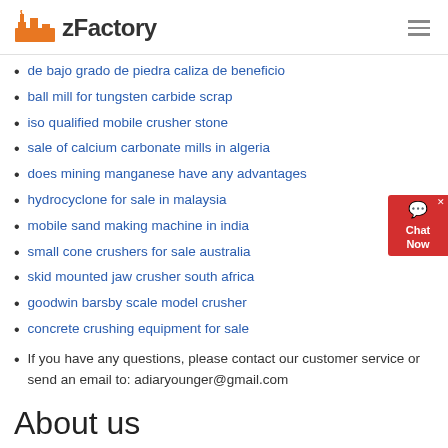zFactory
de bajo grado de piedra caliza de beneficio
ball mill for tungsten carbide scrap
iso qualified mobile crusher stone
sale of calcium carbonate mills in algeria
does mining manganese have any advantages
hydrocyclone for sale in malaysia
mobile sand making machine in india
small cone crushers for sale australia
skid mounted jaw crusher south africa
goodwin barsby scale model crusher
concrete crushing equipment for sale
If you have any questions, please contact our customer service or send an email to: adiaryounger@gmail.com
About us
More than 40 series, hundreds of specifications of crushers, sand